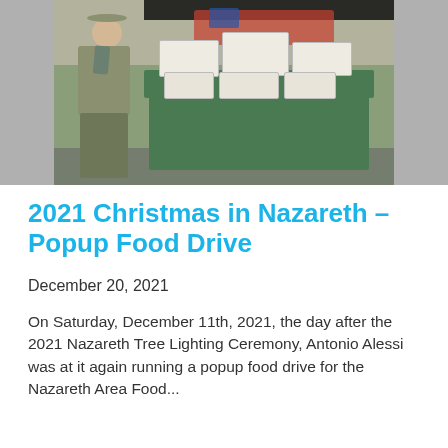[Figure (photo): A Boy Scout in uniform standing in front of a table with a green tablecloth covered in donation boxes and food items, set up outdoors under a dark awning in a parking lot.]
2021 Christmas in Nazareth – Popup Food Drive
December 20, 2021
On Saturday, December 11th, 2021, the day after the 2021 Nazareth Tree Lighting Ceremony, Antonio Alessi was at it again running a popup food drive for the Nazareth Area Food...